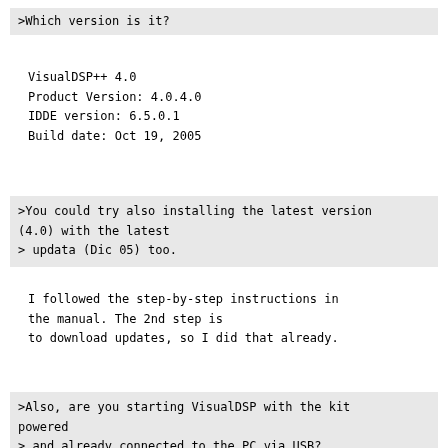>Which version is it?
VisualDSP++ 4.0
Product Version: 4.0.4.0
IDDE version: 6.5.0.1
Build date: Oct 19, 2005
>You could try also installing the latest version (4.0) with the latest
> updata (Dic 05) too.
I followed the step-by-step instructions in the manual. The 2nd step is to download updates, so I did that already.
>Also, are you starting VisualDSP with the kit powered
> and already connected to the PC via USB?